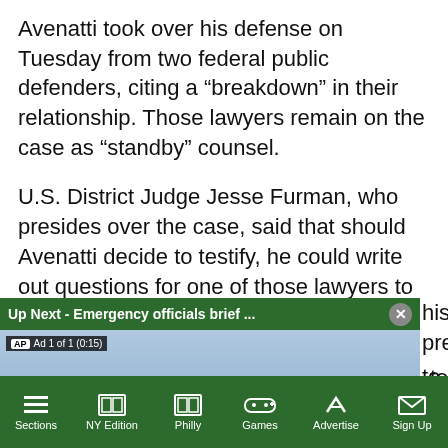Avenatti took over his defense on Tuesday from two federal public defenders, citing a “breakdown” in their relationship. Those lawyers remain on the case as “standby” counsel.
U.S. District Judge Jesse Furman, who presides over the case, said that should Avenatti decide to testify, he could write out questions for one of those lawyers to [ask on] his preferred [approach]...
[Figure (screenshot): Video player overlay showing 'Up Next - Emergency officials brief ...' header bar with close button, AP news video thumbnail of people walking on a bridge with text 'EMERGENCY OFFICIALS BRIEF ON JACKSON’S', mute button, and ad badge reading 'Ad 1 of 1 (0:15)']
to testify in their [case, allowing] them to potentially [implicate] prosecutors.
Before Daniels testified on Friday, Furman rejected
Sections   NY Edition   Philly   Games   Advertise   Sign Up